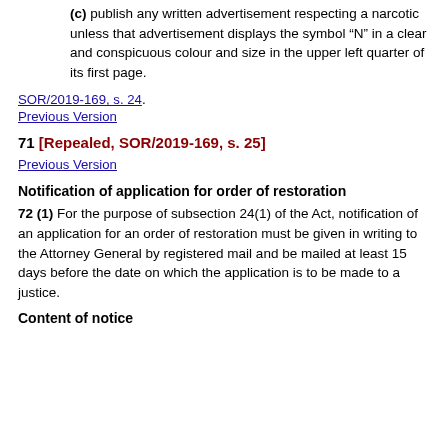(c) publish any written advertisement respecting a narcotic unless that advertisement displays the symbol “N” in a clear and conspicuous colour and size in the upper left quarter of its first page.
SOR/2019-169, s. 24.
Previous Version
71 [Repealed, SOR/2019-169, s. 25]
Previous Version
Notification of application for order of restoration
72 (1) For the purpose of subsection 24(1) of the Act, notification of an application for an order of restoration must be given in writing to the Attorney General by registered mail and be mailed at least 15 days before the date on which the application is to be made to a justice.
Content of notice